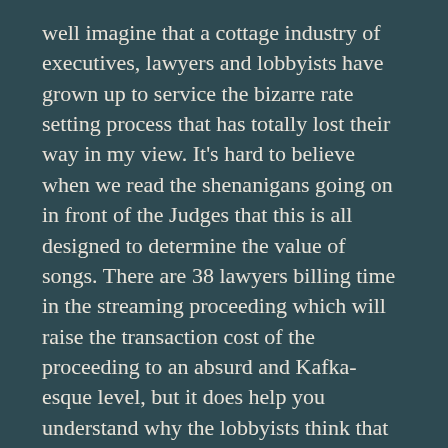well imagine that a cottage industry of executives, lawyers and lobbyists have grown up to service the bizarre rate setting process that has totally lost their way in my view. It's hard to believe when we read the shenanigans going on in front of the Judges that this is all designed to determine the value of songs. There are 38 lawyers billing time in the streaming proceeding which will raise the transaction cost of the proceeding to an absurd and Kafka-esque level, but it does help you understand why the lobbyists think that proceeding is so important–it's definitely more important to them.
Which leads us to the extremely Googley discovery request that Google has filed and